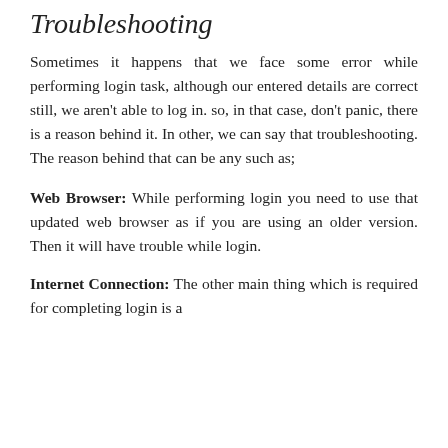Troubleshooting
Sometimes it happens that we face some error while performing login task, although our entered details are correct still, we aren't able to log in. so, in that case, don't panic, there is a reason behind it. In other, we can say that troubleshooting. The reason behind that can be any such as;
Web Browser: While performing login you need to use that updated web browser as if you are using an older version. Then it will have trouble while login.
Internet Connection: The other main thing which is required for completing login is a